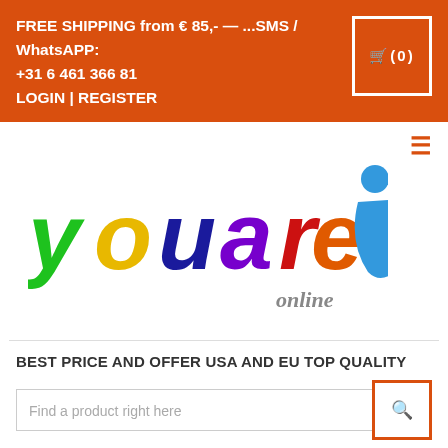FREE SHIPPING from € 85,- — ...SMS / WhatsAPP: +31 6 461 366 81
LOGIN | REGISTER
[Figure (logo): youarez online colorful logo with green y, yellow o, dark blue u, purple a, red r, orange e, blue z figure, and grey italic 'online' text]
BEST PRICE AND OFFER USA AND EU TOP QUALITY
Find a product right here